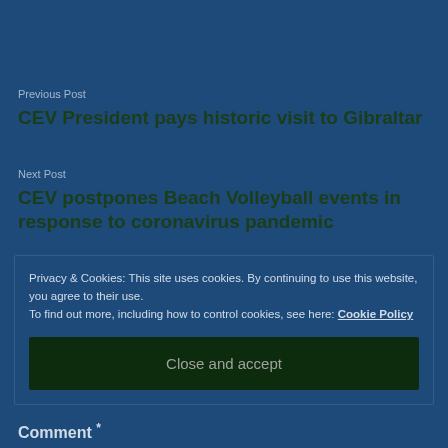Previous Post
CEV President pays historic visit to Gibraltar
Next Post
CEV postpones Beach Volleyball events in response to coronavirus pandemic
Privacy & Cookies: This site uses cookies. By continuing to use this website, you agree to their use.
To find out more, including how to control cookies, see here: Cookie Policy
Close and accept
Comment *